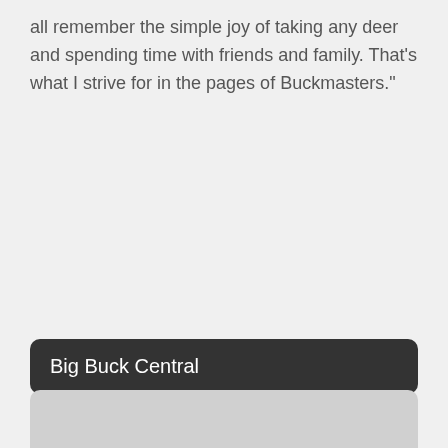all remember the simple joy of taking any deer and spending time with friends and family. That's what I strive for in the pages of Buckmasters."
Big Buck Central